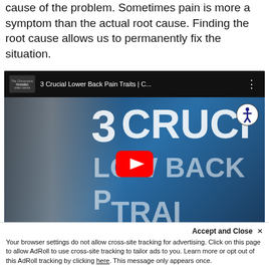cause of the problem. Sometimes pain is more a symptom than the actual root cause. Finding the root cause allows us to permanently fix the situation.
[Figure (screenshot): YouTube video embed thumbnail showing '3 Crucial Lower Back Pain Traits | C...' with a man on the left and large white text '3 CRUCI' and 'LOW BACK P' and 'TRAI' on a blue background. A red YouTube play button is centered on the thumbnail. An accessibility icon is in the top right.]
Accept and Close ×
Your browser settings do not allow cross-site tracking for advertising. Click on this page to allow AdRoll to use cross-site tracking to tailor ads to you. Learn more or opt out of this AdRoll tracking by clicking here. This message only appears once.